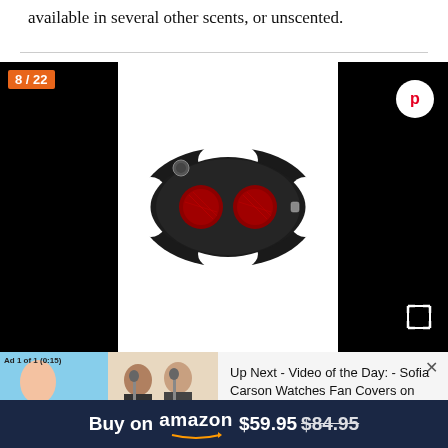available in several other scents, or unscented.
[Figure (photo): Product image gallery showing a shiatsu massage pillow with red heated massage nodes, displayed against white background. Left and right black panels with image counter badge '8 / 22' and Pinterest button.]
[Figure (screenshot): Video overlay ad showing 'Ad 1 of 1 (0:15)' with thumbnail of people singing/performing, and text 'Up Next - Video of the Day: - Sofia Carson Watches Fan Covers on YouTube']
Up Next - Video of the Day: - Sofia Carson Watches Fan Covers on YouTube
Buy on amazon $59.95 $84.95